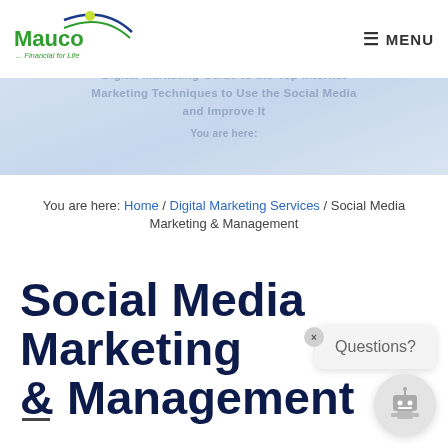Mauco — MENU
[Figure (screenshot): Hero banner with blurred/faded text overlay on light blue-grey gradient background]
You are here: Home / Digital Marketing Services / Social Media Marketing & Management
Social Media Marketing & Management
[Figure (illustration): Chat widget with close button (×), a 'Questions?' speech bubble, and a robot/bot icon at bottom right]